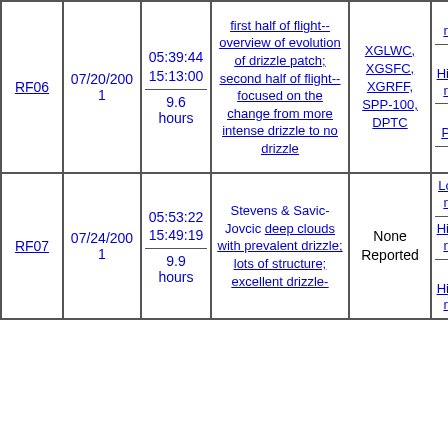| RF | Date | Time / Duration | Description | Instruments | Data |  |
| --- | --- | --- | --- | --- | --- | --- |
| RF06 | 07/20/2001 | 05:39:44 15:13:00 / 9.6 hours | first half of flight-- overview of evolution of drizzle patch; second half of flight-- focused on the change from more intense drizzle to no drizzle | XGLWC, XGSFC, XGRFF, SPP-100, DPTC | Rate netCDF / Ultra High-Rate netCDF / Raw PMS-2D / MCR | T |
| RF07 | 07/24/2001 | 05:53:22 15:49:19 / 9.9 hours | Stevens & Savic-Jovcic deep clouds with prevalent drizzle; lots of structure; excellent drizzle- | None Reported | Low-Rate netCDF / High-Rate netCDF / Ultra High-Rate netCDF | T |